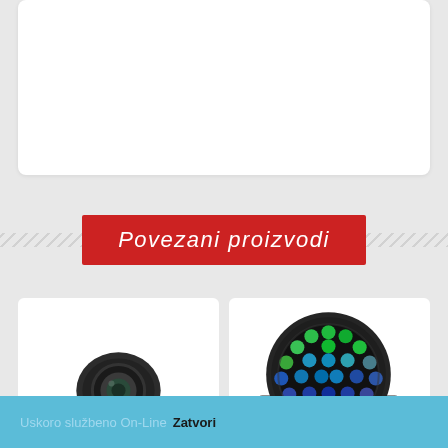[Figure (photo): White card/panel placeholder at the top of the page]
Povezani proizvodi
[Figure (photo): Moving head stage light fixture, black, with lens visible, on white background]
[Figure (photo): LED wash light fixture with multicolor (green, blue, purple) LED array visible, black housing, on white background]
Uskoro službeno On-Line  Zatvori